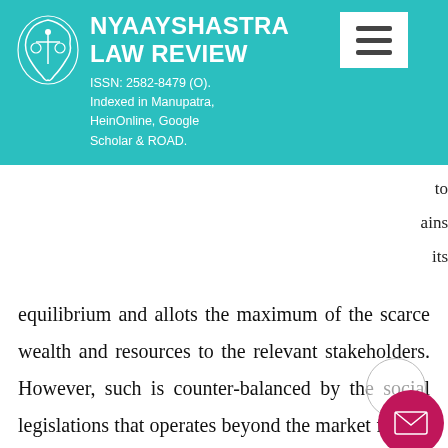[Figure (logo): Nyaayshastra Law Review journal header banner with teal background, India map logo, journal title, ISSN and indexing info, and hamburger menu icon]
of such …s the far …e so to …ains its equilibrium and allots the maximum of the scarce wealth and resources to the relevant stakeholders. However, such is counter-balanced by the social legislations that operates beyond the market forces. Hence, the competing and conflicting forces of the Labour Social Legislations with its Law and Economic Analysis of the Eco and Financial Business comparability